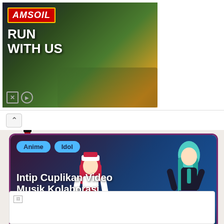[Figure (photo): AMSOIL advertisement banner with car image on left and red bottle product on right. Text reads RUN WITH US.]
[Figure (screenshot): Navigation area with up arrow caret]
[Figure (photo): Article card with dark background and anime characters (Aqours and Hatsune Miku) with tags Anime and Idol and title text in Indonesian]
Intip Cuplikan Video Musik Kolaborasi Aqours dan Hatsune Miku
[Figure (photo): Partially loaded image at the bottom of the page]